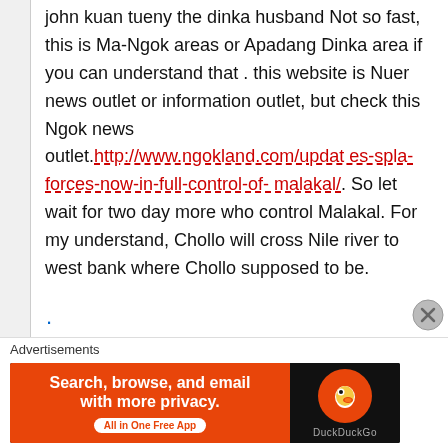john kuan tueny the dinka husband Not so fast, this is Ma-Ngok areas or Apadang Dinka area if you can understand that . this website is Nuer news outlet or information outlet, but check this Ngok news outlet.http://www.ngokland.com/updates-spla-forces-now-in-full-control-of-malakal/. So let wait for two day more who control Malakal. For my understand, Chollo will cross Nile river to west bank where Chollo supposed to be.
Advertisements
[Figure (other): DuckDuckGo advertisement banner: Search, browse, and email with more privacy. All in One Free App. Orange and black banner with DuckDuckGo logo.]